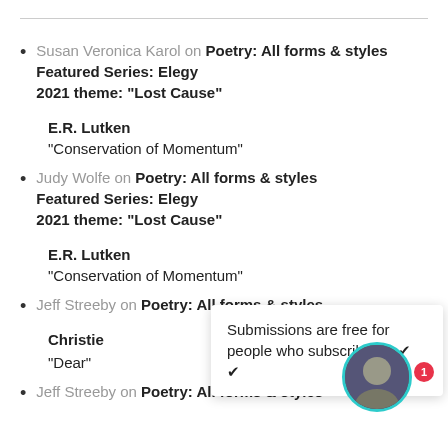Susan Veronica Karol on Poetry: All forms & styles Featured Series: Elegy 2021 theme: “Lost Cause”
E.R. Lutken
“Conservation of Momentum”
Judy Wolfe on Poetry: All forms & styles Featured Series: Elegy 2021 theme: “Lost Cause”
E.R. Lutken
“Conservation of Momentum”
Jeff Streeby on Poetry: All forms & styles
Christie [cut off]
“Dear”
Jeff Streeby on Poetry: All forms & styles
Submissions are free for people who subscribe. ✓ ✓ ✓